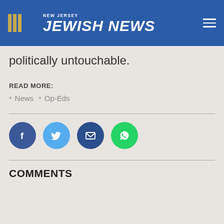NEW JERSEY JEWISH NEWS
politically untouchable.
READ MORE:
News
Op-Eds
[Figure (infographic): Social sharing buttons: Facebook (blue circle), Twitter (light blue circle), Email (dark blue circle), WhatsApp (green circle)]
COMMENTS